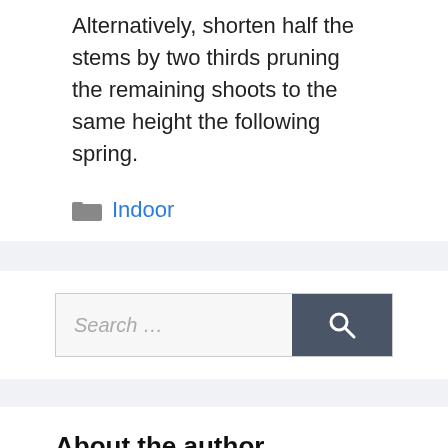Alternatively, shorten half the stems by two thirds pruning the remaining shoots to the same height the following spring.
Indoor
Search …
About the author